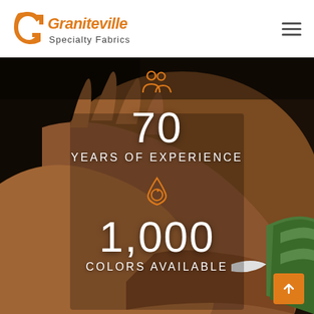[Figure (logo): Graniteville Specialty Fabrics logo with orange stylized G icon and italic orange 'Graniteville' text with black 'Specialty Fabrics' below]
[Figure (photo): Close-up photograph of weathered elderly hands against a dark background, with a green fabric visible at right]
70
YEARS OF EXPERIENCE
1,000
COLORS AVAILABLE